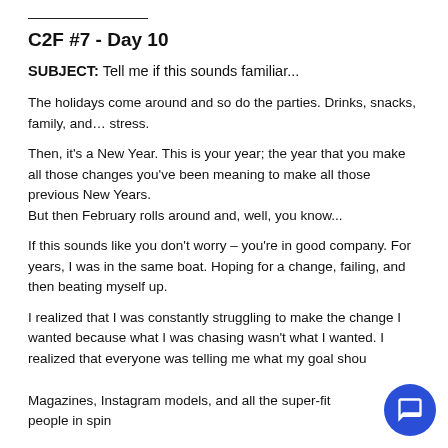C2F #7 - Day 10
SUBJECT: Tell me if this sounds familiar...
The holidays come around and so do the parties. Drinks, snacks, family, and… stress.
Then, it's a New Year. This is your year; the year that you make all those changes you've been meaning to make all those previous New Years.
But then February rolls around and, well, you know...
If this sounds like you don't worry – you're in good company. For years, I was in the same boat. Hoping for a change, failing, and then beating myself up.
I realized that I was constantly struggling to make the change I wanted because what I was chasing wasn't what I wanted. I realized that everyone was telling me what my goal shou
Magazines, Instagram models, and all the super-fit people in spin